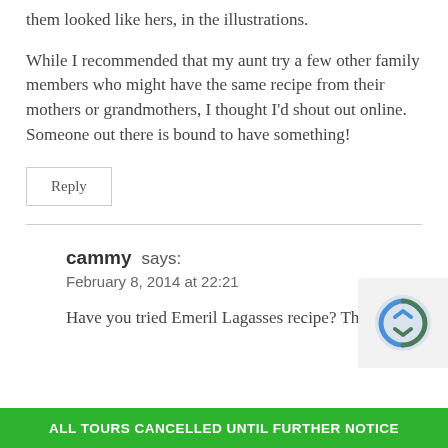them looked like hers, in the illustrations.
While I recommended that my aunt try a few other family members who might have the same recipe from their mothers or grandmothers, I thought I'd shout out online. Someone out there is bound to have something!
Reply
cammy says:
February 8, 2014 at 22:21
Have you tried Emeril Lagasses recipe? They
ALL TOURS CANCELLED UNTIL FURTHER NOTICE